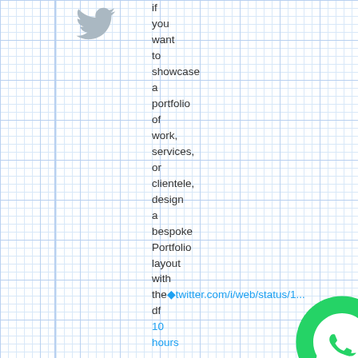[Figure (logo): Twitter bird logo icon in grey/silver color, top left area]
if you want to showcase a portfolio of work, services, or clientele, design a bespoke Portfolio layout with the[link]twitter.com/i/web/status/1... df
10
hours
[Figure (illustration): Green circular WhatsApp phone icon button in bottom right corner]